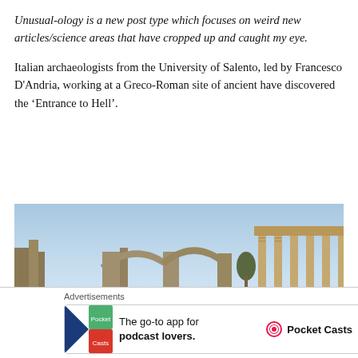Unusual-ology is a new post type which focuses on weird new articles/science areas that have cropped up and caught my eye.
Italian archaeologists from the University of Salento, led by Francesco D'Andria, working at a Greco-Roman site of ancient have discovered the ‘Entrance to Hell’.
[Figure (photo): A Greco-Roman archaeological site showing ancient ruins with arched structures and colonnaded buildings under a clear blue sky.]
Advertisements
[Figure (other): Advertisement for Pocket Casts: The go-to app for podcast lovers, featuring Pocket Casts logo and colorful icon.]